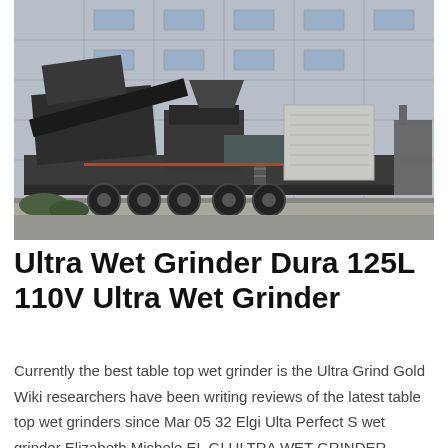[Figure (photo): A large mobile industrial grinding/crushing machine mounted on a trailer with multiple axles, parked in front of a large industrial building with grey paneled walls and windows.]
Ultra Wet Grinder Dura 125L 110V Ultra Wet Grinder
Currently the best table top wet grinder is the Ultra Grind Gold Wiki researchers have been writing reviews of the latest table top wet grinders since Mar 05 32 Elgi Ulta Perfect S wet grinder Elizabeth Michele EL GI ULTRA WET GRINDER